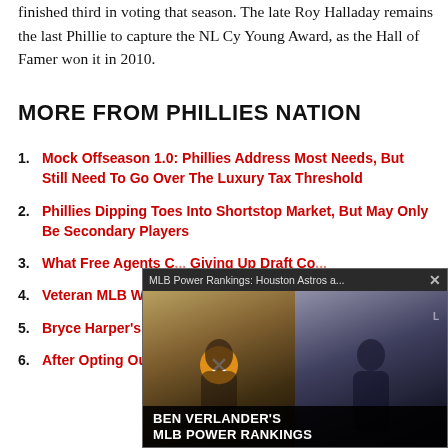finished third in voting that season. The late Roy Halladay remains the last Phillie to capture the NL Cy Young Award, as the Hall of Famer won it in 2010.
MORE FROM PHILLIES NATION
Mock Offseason 1.0: Phillies Address Most Needs, But Still Need To Go Over The Luxury Tax Threshold
Phillies Dipping Toes Into Shortstop Market, But May Only Be Secondary Players
What Free Agents C... Giving Up Draft Co...
Veteran MLB Write... Michael Conforto, M...
Bryce Harper's Top ...
After Opting Out, C... Target Of The Phill...
[Figure (screenshot): Video overlay showing MLB Power Rankings: Houston Astros a... with Ben Verlander's MLB Power Rankings title card, featuring two baseball players]